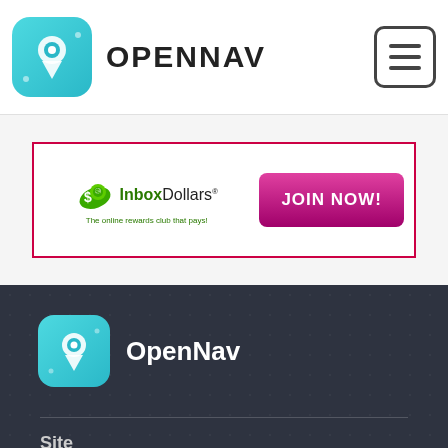OPENNAV
[Figure (screenshot): InboxDollars advertisement banner with green dollar bill icon, InboxDollars logo text, tagline 'The online rewards club that pays!' and a pink/magenta 'JOIN NOW!' button]
[Figure (logo): OpenNav footer logo with teal location pin icon and white OpenNav text on dark background]
Site
Home